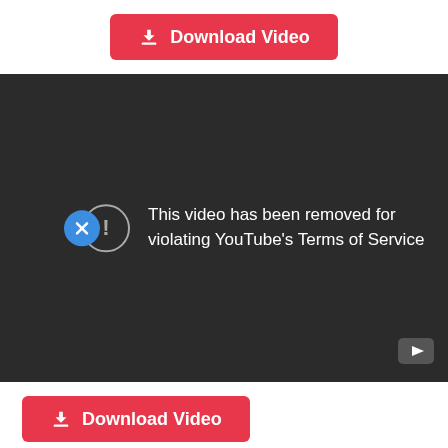[Figure (screenshot): Red 'Download Video' button with download icon at top center]
[Figure (screenshot): Dark YouTube video player showing error: 'This video has been removed for violating YouTube's Terms of Service'. A blue circle with X on the left edge, a warning circle icon, and a YouTube logo in the bottom right corner.]
[Figure (screenshot): Red 'Download Video' button with download icon at bottom left]